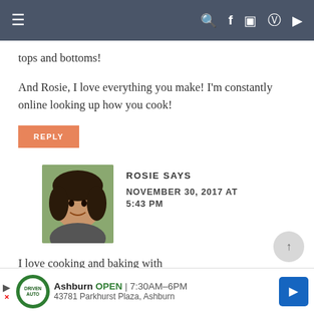Navigation bar with menu and social icons
tops and bottoms!
And Rosie, I love everything you make! I'm constantly online looking up how you cook!
REPLY
ROSIE SAYS
NOVEMBER 30, 2017 AT 5:43 PM
I love cooking and baking with
Ashburn OPEN 7:30AM–6PM 43781 Parkhurst Plaza, Ashburn